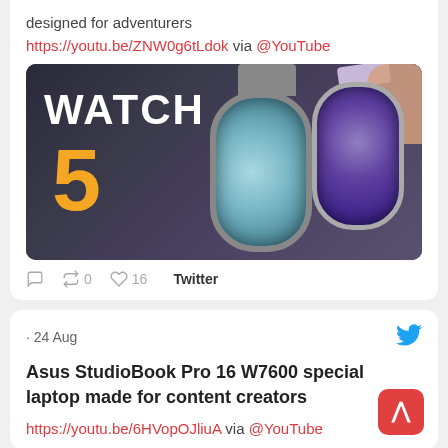designed for adventurers
https://youtu.be/ZNW0g6tLdok via @YouTube
[Figure (screenshot): YouTube video thumbnail showing 'WATCH 5' text with two smartwatches on a reflective surface]
0  0  16  Twitter
· 24 Aug
Asus StudioBook Pro 16 W7600 special laptop made for content creators
https://youtu.be/6HVopOJliuA via @YouTube